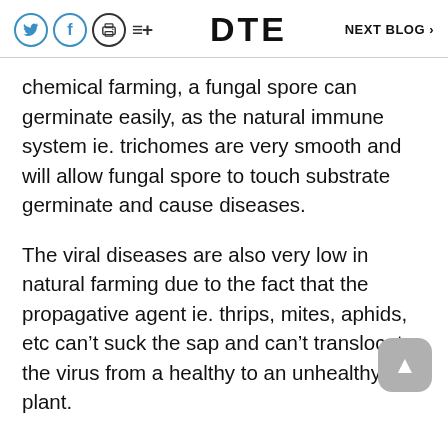DTE   NEXT BLOG >
chemical farming, a fungal spore can germinate easily, as the natural immune system ie. trichomes are very smooth and will allow fungal spore to touch substrate germinate and cause diseases.
The viral diseases are also very low in natural farming due to the fact that the propagative agent ie. thrips, mites, aphids, etc can’t suck the sap and can’t translocate the virus from a healthy to an unhealthy plant.